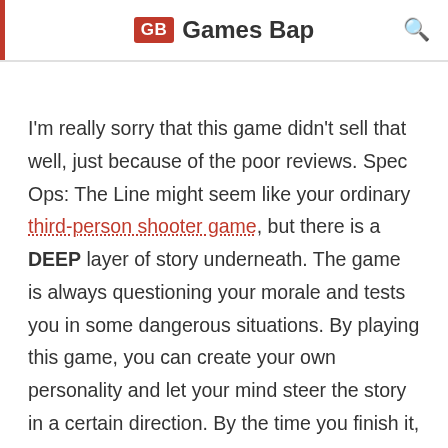GB Games Bap
I'm really sorry that this game didn't sell that well, just because of the poor reviews. Spec Ops: The Line might seem like your ordinary third-person shooter game, but there is a DEEP layer of story underneath. The game is always questioning your morale and tests you in some dangerous situations. By playing this game, you can create your own personality and let your mind steer the story in a certain direction. By the time you finish it, I'm sure you'll immediately spin it for another turn; it's that good!